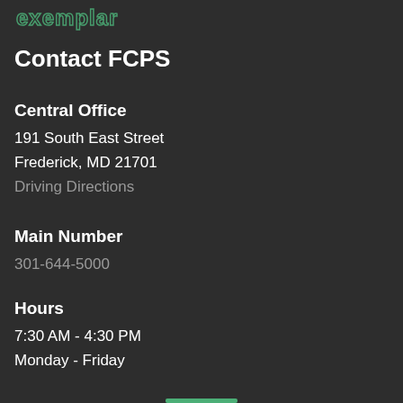[Figure (logo): Exemplar logo in green outline text style, partially visible at top]
Contact FCPS
Central Office
191 South East Street
Frederick, MD 21701
Driving Directions
Main Number
301-644-5000
Hours
7:30 AM - 4:30 PM
Monday - Friday